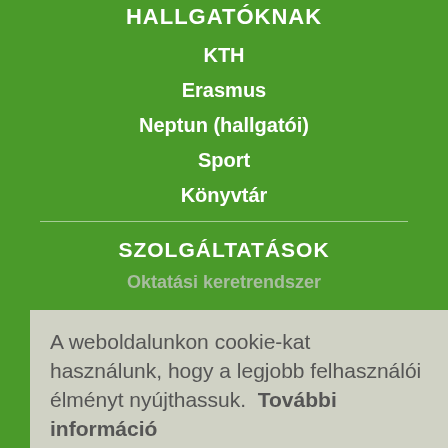HALLGATÓKNAK
KTH
Erasmus
Neptun (hallgatói)
Sport
Könyvtár
SZOLGÁLTATÁSOK
Oktatási keretrendszer
A weboldalunkon cookie-kat használunk, hogy a legjobb felhasználói élményt nyújthassuk. További információ
Rendben!
MTMT
Periodica Polytechnica
BME Alfa